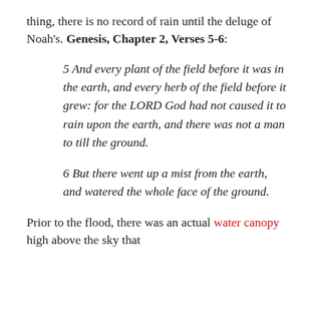thing, there is no record of rain until the deluge of Noah's. Genesis, Chapter 2, Verses 5-6:
5 And every plant of the field before it was in the earth, and every herb of the field before it grew: for the LORD God had not caused it to rain upon the earth, and there was not a man to till the ground.
6 But there went up a mist from the earth, and watered the whole face of the ground.
Prior to the flood, there was an actual water canopy high above the sky that